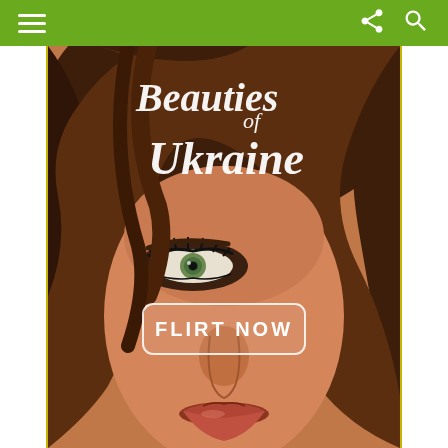Navigation bar with hamburger menu, share icon, and search icon
[Figure (photo): Close-up advertisement photo of a young woman's face with brown hair, green eyes, and red lips. Overlay text reads 'Beauties of Ukraine' in script font at the top, and a rounded rectangle button with text 'FLIRT NOW' in the center.]